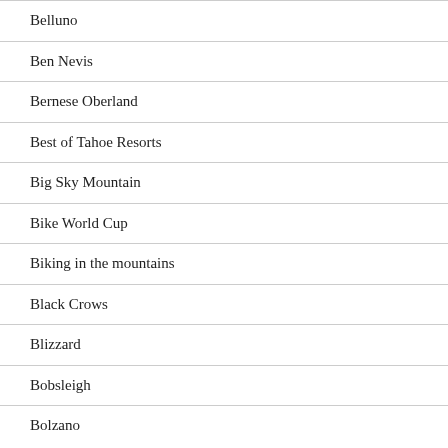Belluno
Ben Nevis
Bernese Oberland
Best of Tahoe Resorts
Big Sky Mountain
Bike World Cup
Biking in the mountains
Black Crows
Blizzard
Bobsleigh
Bolzano